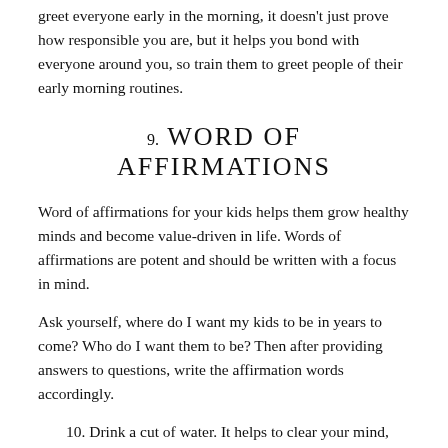greet everyone early in the morning, it doesn't just prove how responsible you are, but it helps you bond with everyone around you, so train them to greet people of their early morning routines.
9. WORD OF AFFIRMATIONS
Word of affirmations for your kids helps them grow healthy minds and become value-driven in life. Words of affirmations are potent and should be written with a focus in mind.
Ask yourself, where do I want my kids to be in years to come? Who do I want them to be? Then after providing answers to questions, write the affirmation words accordingly.
10. Drink a cut of water. It helps to clear your mind,